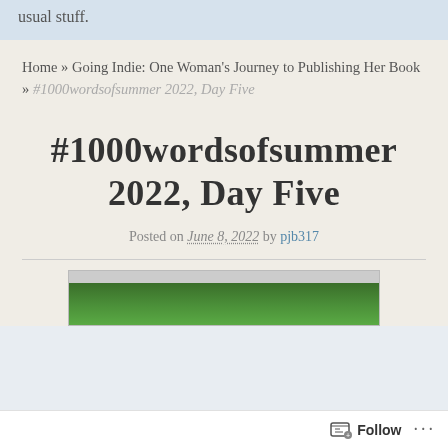usual stuff.
Home » Going Indie: One Woman's Journey to Publishing Her Book » #1000wordsofsummer 2022, Day Five
#1000wordsofsummer 2022, Day Five
Posted on June 8, 2022 by pjb317
[Figure (photo): Partial view of a green leafy hedge or bush, cropped at the bottom of the page]